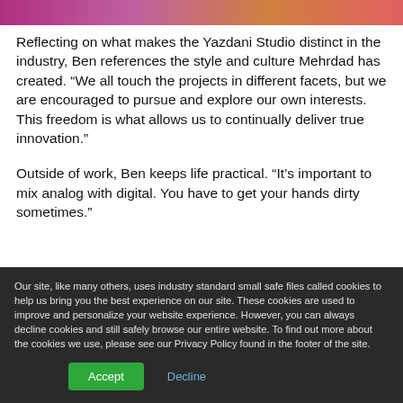[Figure (photo): Partial image bar at the top of the page showing a colorful gradient strip (pink, magenta, orange tones)]
Reflecting on what makes the Yazdani Studio distinct in the industry, Ben references the style and culture Mehrdad has created. “We all touch the projects in different facets, but we are encouraged to pursue and explore our own interests. This freedom is what allows us to continually deliver true innovation.”
Outside of work, Ben keeps life practical. “It’s important to mix analog with digital. You have to get your hands dirty sometimes.”
Our site, like many others, uses industry standard small safe files called cookies to help us bring you the best experience on our site. These cookies are used to improve and personalize your website experience. However, you can always decline cookies and still safely browse our entire website. To find out more about the cookies we use, please see our Privacy Policy found in the footer of the site.